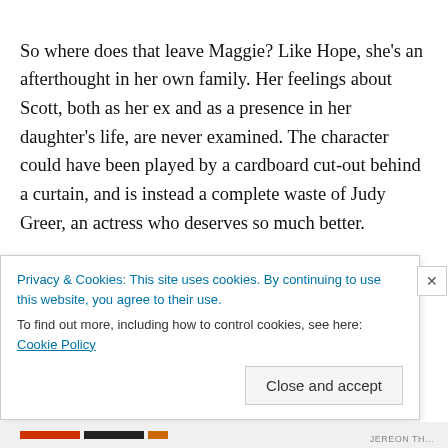So where does that leave Maggie? Like Hope, she's an afterthought in her own family. Her feelings about Scott, both as her ex and as a presence in her daughter's life, are never examined. The character could have been played by a cardboard cut-out behind a curtain, and is instead a complete waste of Judy Greer, an actress who deserves so much better.
Hope does, mid-way through the movie's end credits, receive her own suit (my knowledge of the original comics is limited, but Some dude apparently will be Red...
Privacy & Cookies: This site uses cookies. By continuing to use this website, you agree to their use.
To find out more, including how to control cookies, see here: Cookie Policy